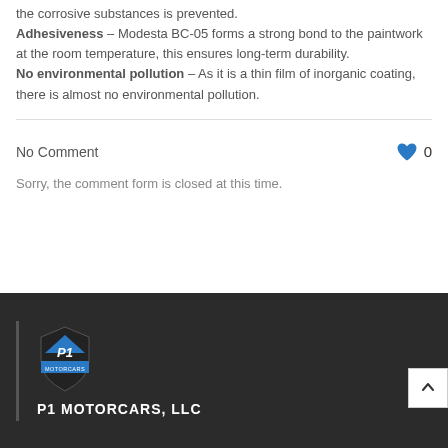the corrosive substances is prevented. Adhesiveness – Modesta BC-05 forms a strong bond to the paintwork at the room temperature, this ensures long-term durability. No environmental pollution – As it is a thin film of inorganic coating, there is almost no environmental pollution.
No Comment
Sorry, the comment form is closed at this time.
P1 MOTORCARS, LLC